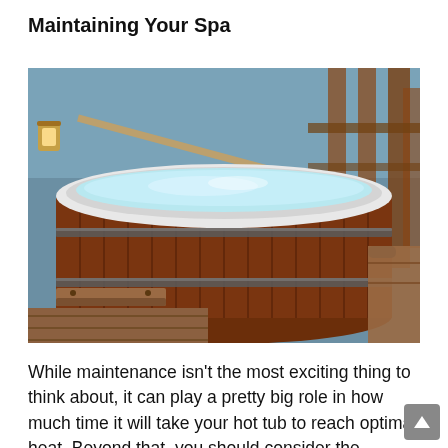Maintaining Your Spa
[Figure (photo): A wooden hot tub/spa with a white acrylic interior filled with clear blue water, sitting on a wooden deck near a lake or pond. The tub has metal bands and a black handle on the side. There is wooden fencing in the background and a small lantern visible.]
While maintenance isn't the most exciting thing to think about, it can play a pretty big role in how much time it will take your hot tub to reach optimal heat. Beyond that, you should consider the components of your hot tub and what kind